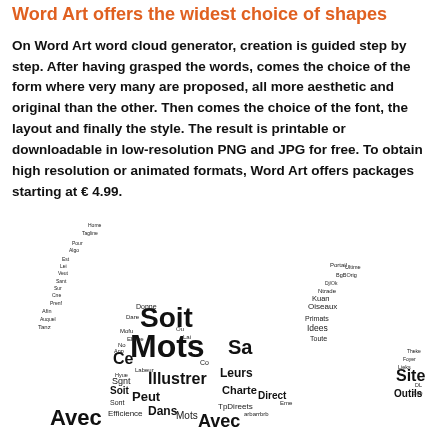Word Art offers the widest choice of shapes
On Word Art word cloud generator, creation is guided step by step. After having grasped the words, comes the choice of the form where very many are proposed, all more aesthetic and original than the other. Then comes the choice of the font, the layout and finally the style. The result is printable or downloadable in low-resolution PNG and JPG for free. To obtain high resolution or animated formats, Word Art offers packages starting at € 4.99.
[Figure (illustration): A word cloud in a bird/check-mark shape made up of French words such as Soit, Mots, Illustrer, Sa, Peut, Dans, Direct, Ce, Leurs, Charte, Site, Outils, and many other smaller words arranged in the shape of a flying bird or checkmark.]